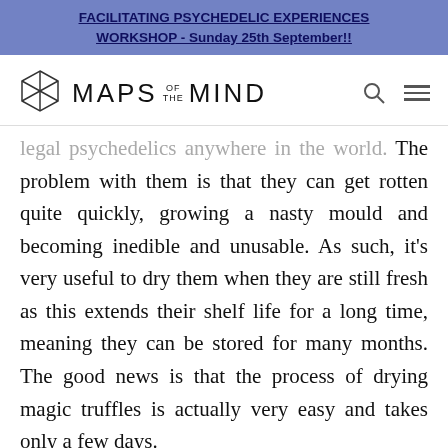FACILITATING PSYCHEDELIC EXPERIENCES WORKSHOP - Sunday 25th September!!
[Figure (logo): Maps of the Mind logo with hexagonal icon and navigation icons (search, hamburger menu)]
legal psychedelics anywhere in the world. The problem with them is that they can get rotten quite quickly, growing a nasty mould and becoming inedible and unusable. As such, it's very useful to dry them when they are still fresh as this extends their shelf life for a long time, meaning they can be stored for many months. The good news is that the process of drying magic truffles is actually very easy and takes only a few days.